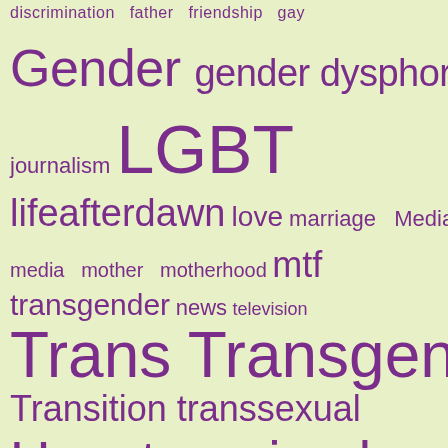[Figure (infographic): Word cloud on a light yellow-green background featuring terms related to transgender, LGBT, and gender topics in varying font sizes in purple. Words include: discrimination, father, friendship, gay, Gender, gender dysphoria, journalism, LGBT, lifeafterdawn, love, marriage, Media, media, mother, motherhood, mtf, transgender, news, television, Trans, Transgender, Transition, transsexual, Uncategorized]